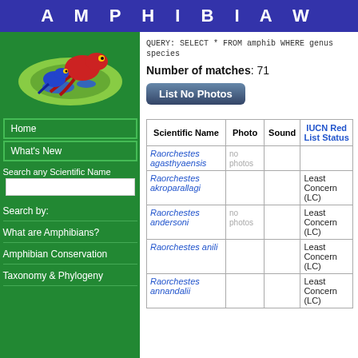A M P H I B I A W
[Figure (illustration): Logo with a red and blue frog on a green globe illustration]
Home
What's New
Search any Scientific Name
Search by:
What are Amphibians?
Amphibian Conservation
Taxonomy & Phylogeny
QUERY: SELECT * FROM amphib WHERE genus species
Number of matches: 71
List No Photos
| Scientific Name | Photo | Sound | IUCN Red List Status |
| --- | --- | --- | --- |
| Raorchestes agasthyaensis | no photos |  |  |
| Raorchestes akroparallagi |  |  | Least Concern (LC) |
| Raorchestes andersoni | no photos |  | Least Concern (LC) |
| Raorchestes anili |  |  | Least Concern (LC) |
| Raorchestes annandalii |  |  | Least Concern (LC) |